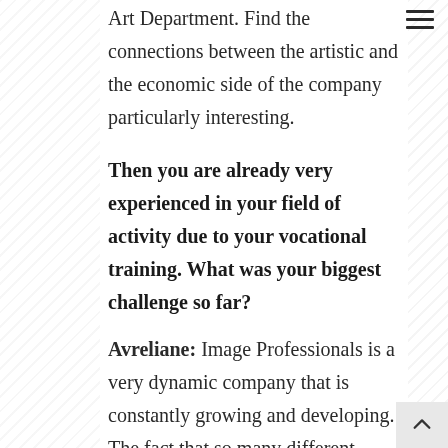Art Department. Find the connections between the artistic and the economic side of the company particularly interesting.
Then you are already very experienced in your field of activity due to your vocational training. What was your biggest challenge so far?
Avreliane: Image Professionals is a very dynamic company that is constantly growing and developing. The fact that so many different specialist picture agencies are united under one roof and new ones are constantly being added is indeed a challenge. The great thing is that in Petra Thierry, I had a very experienced colleague at my side. I have benefited